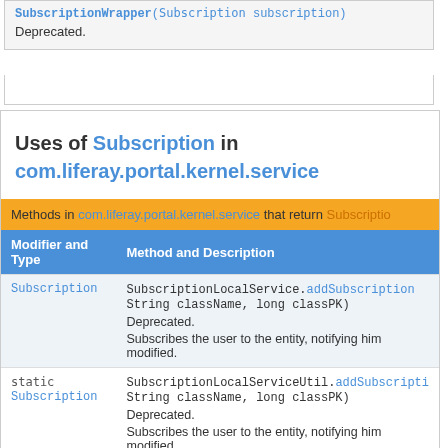SubscriptionWrapper(Subscription subscription)
Deprecated.
Uses of Subscription in com.liferay.portal.kernel.service
| Modifier and Type | Method and Description |
| --- | --- |
| Subscription | SubscriptionLocalService.addSubscription(...) String className, long classPK)
Deprecated.
Subscribes the user to the entity, notifying him modified. |
| static Subscription | SubscriptionLocalServiceUtil.addSubscripti... String className, long classPK)
Deprecated.
Subscribes the user to the entity, notifying him modified. |
| Subscription | SubscriptionLocalServiceWrapper.addSubscr... String className, long classPK)
Deprecated.
Subscribes the user to the entity, notifying him |